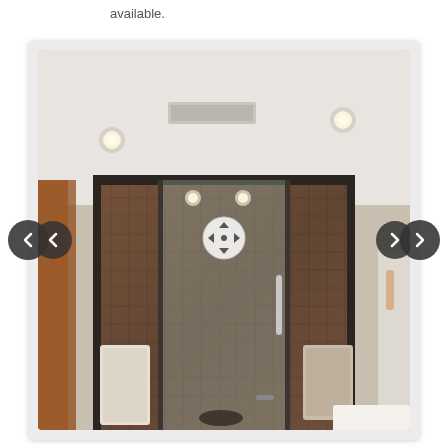available.
[Figure (photo): Interior bathroom photo showing a large glass-enclosed shower with brown/rust brick-style tile walls, recessed ceiling lights, glass door with chrome handle, and towels hanging beside the shower. Navigation arrows (left/right) and a pan/360 icon overlay are visible.]